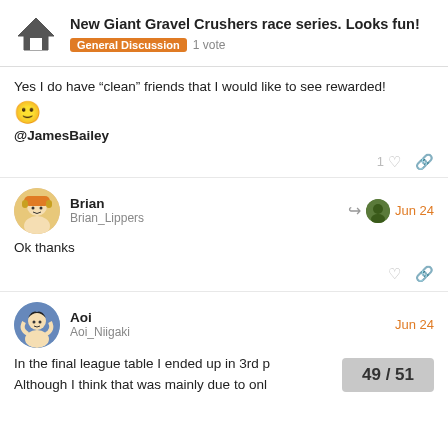New Giant Gravel Crushers race series. Looks fun! | General Discussion · 1 vote
Yes I do have “clean” friends that I would like to see rewarded!
🙂
@JamesBailey
Brian / Brian_Lippers · Jun 24
Ok thanks
Aoi / Aoi_Niigaki · Jun 24
In the final league table I ended up in 3rd p
Although I think that was mainly due to onl
49 / 51